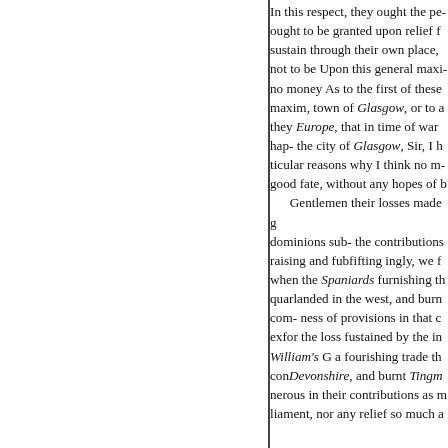In this respect, they ought the pe- ought to be granted upon relief f sustain through their own place, not to be Upon this general maxi- no money As to the first of these maxim, town of Glasgow, or to a they Europe, that in time of war hap- the city of Glasgow, Sir, I h ticular reasons why I think no me- good fate, without any hopes of b Gentlemen their losses made g dominions sub- the contributions raising and fubfifting ingly, we f when the Spaniards furnishing th quarlanded in the west, and burn com- ness of provisions in that c exfor the loss fustained by the in William's G a fourishing trade th conDevonshire, and burnt Tingm nerous in their contributions as m liament, nor any relief so much a